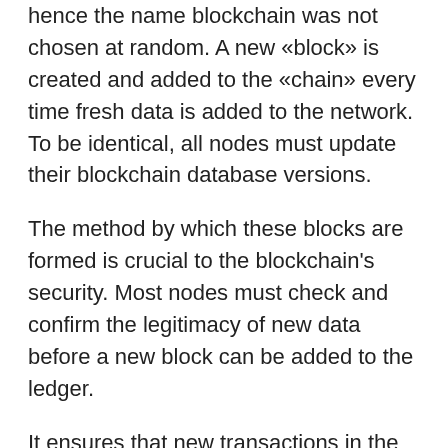hence the name blockchain was not chosen at random. A new «block» is created and added to the «chain» every time fresh data is added to the network. To be identical, all nodes must update their blockchain database versions.
The method by which these blocks are formed is crucial to the blockchain's security. Most nodes must check and confirm the legitimacy of new data before a new block can be added to the ledger.
It ensures that new transactions in the block are not fraudulent, for example, in the case of cryptocurrency. You should also double-check that the coins haven't been spent.